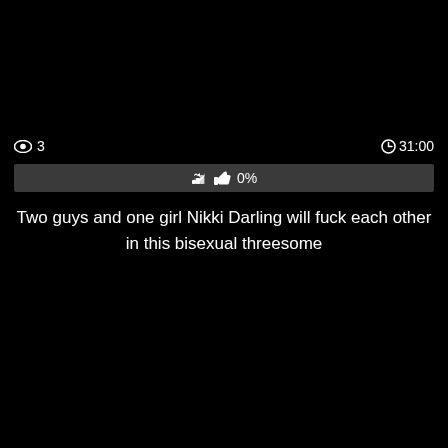[Figure (screenshot): Dark screenshot of a video player with a dark/black background and a partially visible dark silhouette on the left side]
👁 3   🕐 31:00
👍 0%
Two guys and one girl Nikki Darling will fuck each other in this bisexual threesome